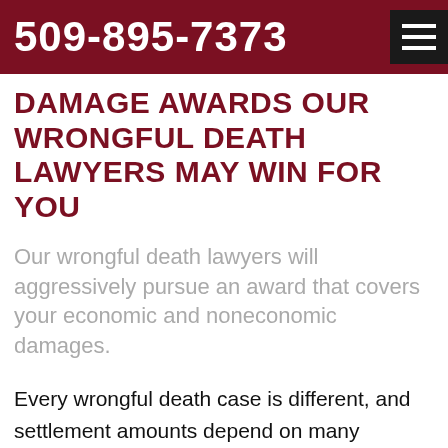509-895-7373
DAMAGE AWARDS OUR WRONGFUL DEATH LAWYERS MAY WIN FOR YOU
Our wrongful death lawyers will aggressively pursue an award that covers your economic and noneconomic damages.
Every wrongful death case is different, and settlement amounts depend on many factors, including the decedent's life expectancy and life income. Damages permitted in a wrongful death